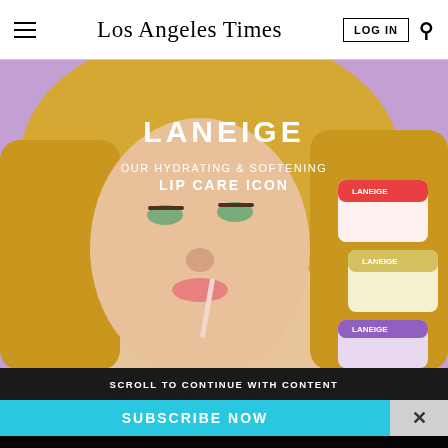Los Angeles Times
[Figure (photo): Laneige advertisement showing a blonde woman applying lip gloss with text 'LANEIGE OUR HYDRATING & SOFTENING LIP CARE ICON' and product jars on a purple background]
SCROLL TO CONTINUE WITH CONTENT
SUBSCRIBE NOW
By continuing to use our site, you agree to our Terms of Service and Privacy Policy. You can learn more about how we use cookies by reviewing our Privacy Policy. Close